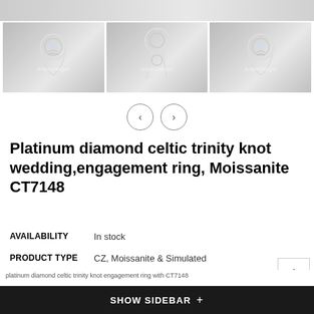[Figure (photo): Partial top image of a diamond ring on grey background]
[Figure (photo): Three thumbnail photos of a platinum diamond celtic trinity knot ring from different angles, with AnajasDesigns watermark]
[Figure (other): Navigation arrows (prev/next) for image carousel]
Platinum diamond celtic trinity knot wedding,engagement ring, Moissanite CT7148
| Attribute | Value |
| --- | --- |
| AVAILABILITY | In stock |
| PRODUCT TYPE | CZ, Moissanite & Simulated |
| VENDOR | n/a |
SHOW SIDEBAR +
platinum diamond celtic trinity knot engagement ring with CT7148